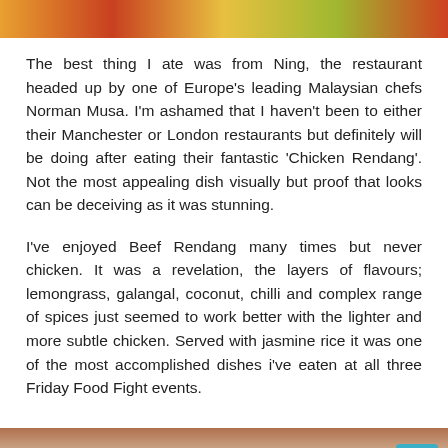[Figure (photo): Colorful food image strip at top of page]
The best thing I ate was from Ning, the restaurant headed up by one of Europe's leading Malaysian chefs Norman Musa. I'm ashamed that I haven't been to either their Manchester or London restaurants but definitely will be doing after eating their fantastic 'Chicken Rendang'. Not the most appealing dish visually but proof that looks can be deceiving as it was stunning.
I've enjoyed Beef Rendang many times but never chicken. It was a revelation, the layers of flavours; lemongrass, galangal, coconut, chilli and complex range of spices just seemed to work better with the lighter and more subtle chicken. Served with jasmine rice it was one of the most accomplished dishes i've eaten at all three Friday Food Fight events.
[Figure (photo): Partial photo of a white plate on a wooden surface with food remains]